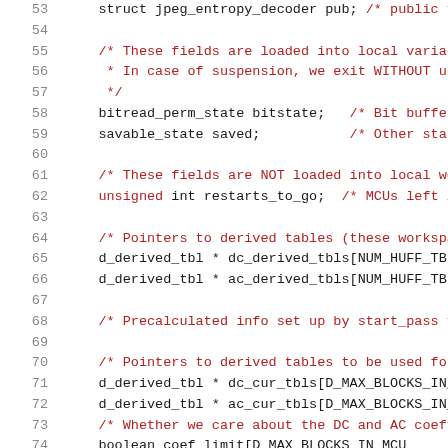Source code listing lines 53-74 showing C struct definition for jpeg entropy decoder
53    struct jpeg_entropy_decoder pub; /* public fi
54
55    /* These fields are loaded into local variabl
56     * In case of suspension, we exit WITHOUT upda
57     */
58    bitread_perm_state bitstate;   /* Bit buffer a
59    savable_state saved;           /* Other state a
60
61    /* These fields are NOT loaded into local wor
62    unsigned int restarts_to_go;  /* MCUs left in
63
64    /* Pointers to derived tables (these workspac
65    d_derived_tbl * dc_derived_tbls[NUM_HUFF_TBLS
66    d_derived_tbl * ac_derived_tbls[NUM_HUFF_TBLS
67
68    /* Precalculated info set up by start_pass fo
69
70    /* Pointers to derived tables to be used for
71    d_derived_tbl * dc_cur_tbls[D_MAX_BLOCKS_IN_MC
72    d_derived_tbl * ac_cur_tbls[D_MAX_BLOCKS_IN_MC
73    /* Whether we care about the DC and AC coeffi
74    ...